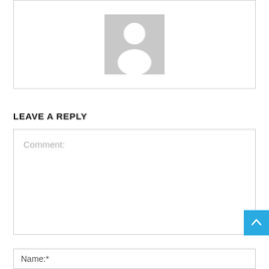[Figure (illustration): Generic user avatar placeholder — grey square with white silhouette of a person (circle head, rounded shoulders)]
LEAVE A REPLY
[Figure (screenshot): Comment text area input box with placeholder text 'Comment:']
[Figure (screenshot): Name input field with placeholder text 'Name:*' and blue scroll-to-top arrow button in bottom-right corner]